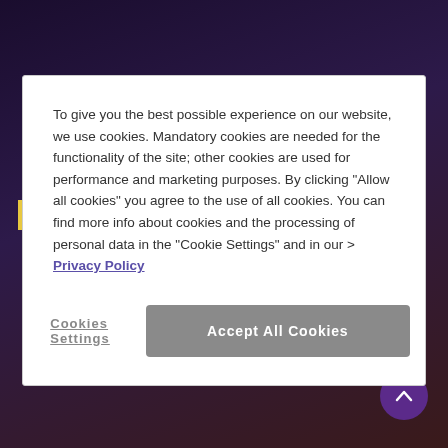To give you the best possible experience on our website, we use cookies. Mandatory cookies are needed for the functionality of the site; other cookies are used for performance and marketing purposes. By clicking "Allow all cookies" you agree to the use of all cookies. You can find more info about cookies and the processing of personal data in the "Cookie Settings" and in our > Privacy Policy
Cookies Settings
Accept All Cookies
If one of Ampres's websites is accessed, then a direct connection can be established via the browser with the corresponding social network's servers if the corresponding social plugin is clicked on. This will result in the contents of the social network's plugin being forwarded directly to the customer's browser and, by means of this, being integrated into the relevant web. If the customer is registered on the social network in